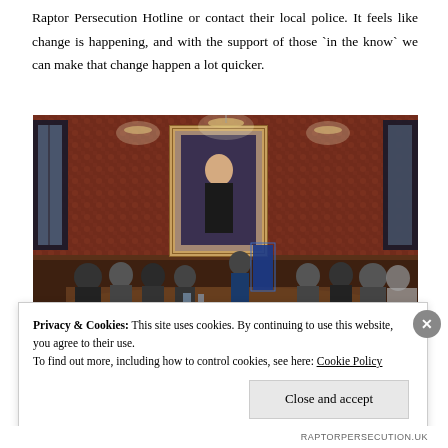Raptor Persecution Hotline or contact their local police. It feels like change is happening, and with the support of those `in the know` we can make that change happen a lot quicker.
[Figure (photo): A formal meeting room with dark wood paneling and red patterned wallcovering. A large portrait hangs on the wall above people seated around a U-shaped conference table. An overhead chandelier-style lighting fixture is visible. A presenter stands at a podium or at the head of the room.]
Privacy & Cookies: This site uses cookies. By continuing to use this website, you agree to their use.
To find out more, including how to control cookies, see here: Cookie Policy
Close and accept